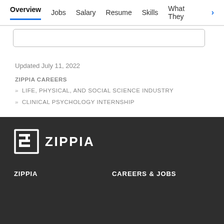Overview | Jobs | Salary | Resume | Skills | What They >
[Figure (screenshot): Partial search bar input field]
Updated July 11, 2022
ZIPPIA CAREERS
» LIFE, PHYSICAL, AND SOCIAL SCIENCE INDUSTRY
» CLINICAL PSYCHOLOGY INTERNSHIP
[Figure (logo): Zippia logo — white Z icon in square bracket frame with ZIPPIA text, on dark background]
ZIPPIA
CAREERS & JOBS